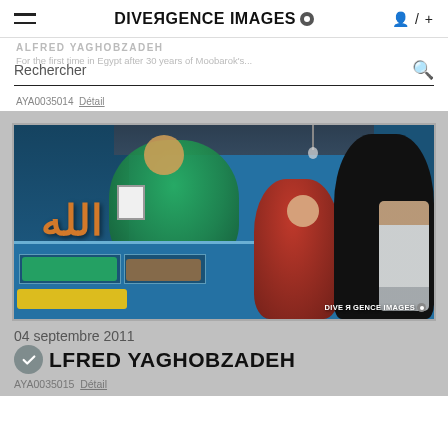DIVERGENCE IMAGES
Rechercher
ALFRED YAGHOBZADEH
For the first time in Egypt after 30 years of Moobarok's...
AYA0035014  Détail
[Figure (photo): An Egyptian market scene with a woman in a red hijab at a produce stall. Behind her is a large blue wall decorated with Arabic calligraphy and a mural of a green-robed Islamic scholar reading a book. A man in a white shirt is visible in the background. The foreground shows crates of vegetables. A Divergence Images watermark is in the lower right. ]
04 septembre 2011
ALFRED YAGHOBZADEH
AYA0035015  Détail